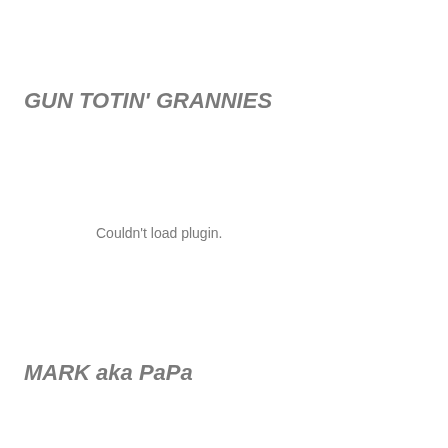GUN TOTIN' GRANNIES
Couldn't load plugin.
MARK aka PaPa